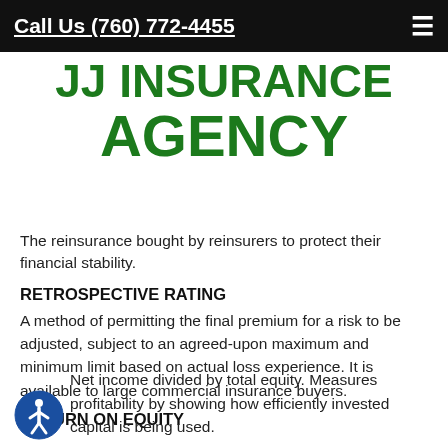Call Us (760) 772-4455
[Figure (logo): JJ Insurance Agency logo in large bold green text, two lines: 'JJ INSURANCE' and 'AGENCY']
The reinsurance bought by reinsurers to protect their financial stability.
RETROSPECTIVE RATING
A method of permitting the final premium for a risk to be adjusted, subject to an agreed-upon maximum and minimum limit based on actual loss experience. It is available to large commercial insurance buyers.
RETURN ON EQUITY
Net income divided by total equity. Measures profitability by showing how efficiently invested capital is being used.